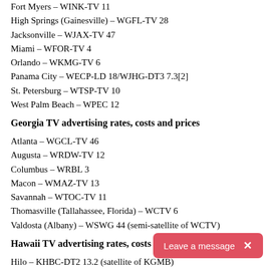Fort Myers – WINK-TV 11
High Springs (Gainesville) – WGFL-TV 28
Jacksonville – WJAX-TV 47
Miami – WFOR-TV 4
Orlando – WKMG-TV 6
Panama City – WECP-LD 18/WJHG-DT3 7.3[2]
St. Petersburg – WTSP-TV 10
West Palm Beach – WPEC 12
Georgia TV advertising rates, costs and prices
Atlanta – WGCL-TV 46
Augusta – WRDW-TV 12
Columbus – WRBL 3
Macon – WMAZ-TV 13
Savannah – WTOC-TV 11
Thomasville (Tallahassee, Florida) – WCTV 6
Valdosta (Albany) – WSWG 44 (semi-satellite of WCTV)
Hawaii TV advertising rates, costs and prices
Hilo – KHBC-DT2 13.2 (satellite of KGMB)
Honolulu – KGMB 5
Wailuku – KOGG-DT2 13.2 (satellite of KGMB)
Idaho TV advertising rates and prices